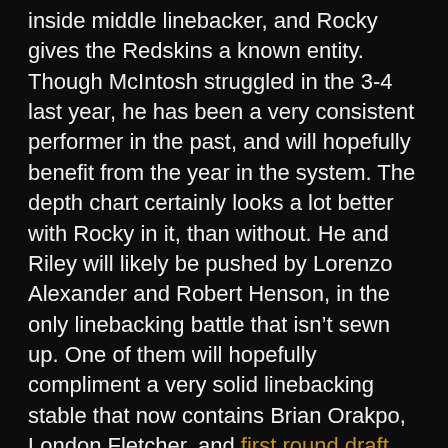inside middle linebacker, and Rocky gives the Redskins a known entity. Though McIntosh struggled in the 3-4 last year, he has been a very consistent performer in the past, and will hopefully benefit from the year in the system. The depth chart certainly looks a lot better with Rocky in it, than without. He and Riley will likely be pushed by Lorenzo Alexander and Robert Henson, in the only linebacking battle that isn't sewn up. One of them will hopefully compliment a very solid linebacking stable that now contains Brian Orakpo, London Fletcher, and first round draft pick Ryan Kerrigan.
Golston returns to the Redskins for his 6th season. He signed a one year deal, and rumors are that he turned down a deal with Dallas to come back to Washington. Always quiet and unassuming, he will provide solid